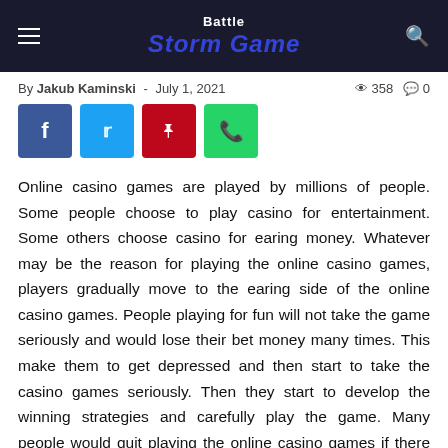Battle Storm Game
By Jakub Kaminski - July 1, 2021  358  0
[Figure (other): Social share buttons: Facebook, Twitter, Pinterest, WhatsApp]
Online casino games are played by millions of people. Some people choose to play casino for entertainment. Some others choose casino for earing money. Whatever may be the reason for playing the online casino games, players gradually move to the earing side of the online casino games. People playing for fun will not take the game seriously and would lose their bet money many times. This make them to get depressed and then start to take the casino games seriously. Then they start to develop the winning strategies and carefully play the game. Many people would quit playing the online casino games if there is no chance of earning money through it. Only some people would continue playing the